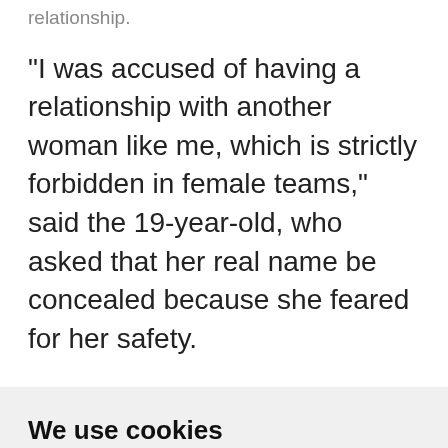relationship.
"I was accused of having a relationship with another woman like me, which is strictly forbidden in female teams," said the 19-year-old, who asked that her real name be concealed because she feared for her safety.
We use cookies
We use cookies and other tracking technologies to improve your browsing experience on our website, to show you personalized content and targeted ads, to analyze our website traffic, and to understand where our visitors are coming from.